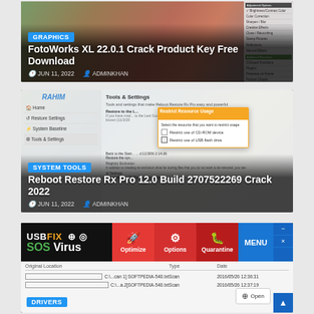[Figure (screenshot): FotoWorks XL software screenshot showing photo editing interface with graphics menu badge]
FotoWorks XL 22.0.1 Crack Product Key Free Download
JUN 11, 2022   ADMINKHAN
[Figure (screenshot): Reboot Restore Rx Pro software screenshot showing Tools & Settings panel with Restrict Resource Usage dialog]
Reboot Restore Rx Pro 12.0 Build 2707522269 Crack 2022
JUN 11, 2022   ADMINKHAN
[Figure (screenshot): USBFix SOS Virus software screenshot showing Optimize, Options, Quarantine buttons and file scan table]